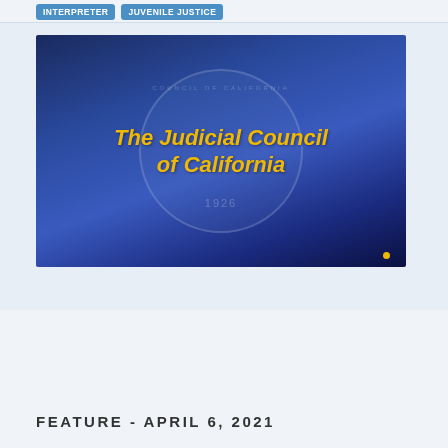INTERPRETER  JUVENILE JUSTICE
[Figure (photo): Photograph of a presentation screen displaying 'The Judicial Council of California' in yellow italic text on a blue background, with the California Judicial Council seal visible and the year 1926.]
FEATURE - APRIL 6, 2021